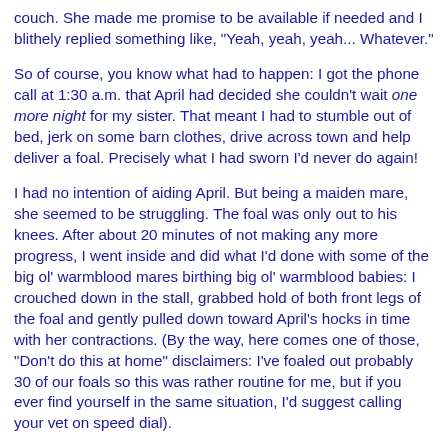couch. She made me promise to be available if needed and I blithely replied something like, "Yeah, yeah, yeah... Whatever."
So of course, you know what had to happen: I got the phone call at 1:30 a.m. that April had decided she couldn't wait one more night for my sister. That meant I had to stumble out of bed, jerk on some barn clothes, drive across town and help deliver a foal. Precisely what I had sworn I'd never do again!
I had no intention of aiding April. But being a maiden mare, she seemed to be struggling. The foal was only out to his knees. After about 20 minutes of not making any more progress, I went inside and did what I'd done with some of the big ol' warmblood mares birthing big ol' warmblood babies: I crouched down in the stall, grabbed hold of both front legs of the foal and gently pulled down toward April's hocks in time with her contractions. (By the way, here comes one of those, "Don't do this at home" disclaimers: I've foaled out probably 30 of our foals so this was rather routine for me, but if you ever find yourself in the same situation, I'd suggest calling your vet on speed dial).